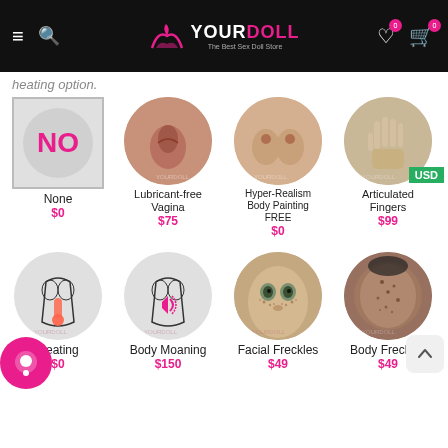YOURDOLL - The Best Sex Doll Store
heating option.
None $0
Lubricant-free Vagina $75
Hyper-Realism Body Painting FREE $0
Articulated Fingers $99
Heating $0
Body Moaning $150
Facial Freckles $49
Body Freckles $49